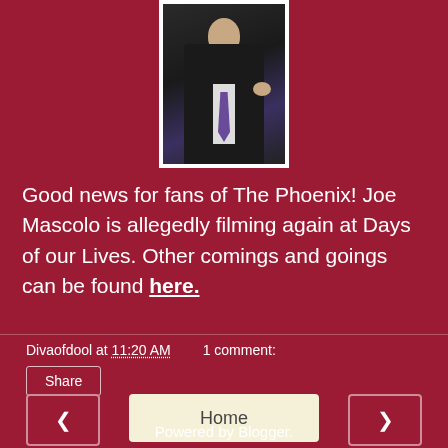[Figure (photo): A man in a dark suit with a purple tie, photographed from the torso up against a dark background, white border around the image.]
Good news for fans of The Phoenix! Joe Mascolo is allegedly filming again at Days of our Lives. Other comings and goings can be found here.
Divaofdool at 11:20 AM    1 comment:
Share
◄
Home
►
View web version
Powered by Blogger.